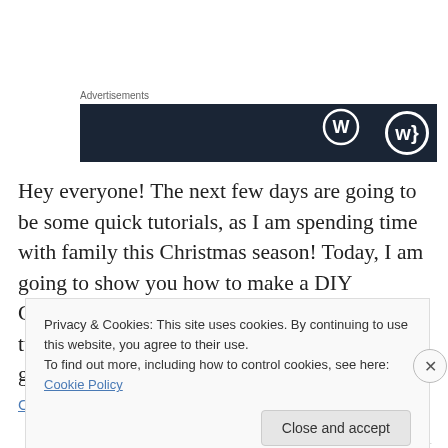Advertisements
[Figure (other): Dark navy advertisement banner with WordPress circle logo on the right]
Hey everyone! The next few days are going to be some quick tutorials, as I am spending time with family this Christmas season! Today, I am going to show you how to make a DIY Christmas Tree Napkin – this is a really fast tutorial that is sure to get complements. Let's get started!
Continue reading
Privacy & Cookies: This site uses cookies. By continuing to use this website, you agree to their use.
To find out more, including how to control cookies, see here: Cookie Policy
Close and accept